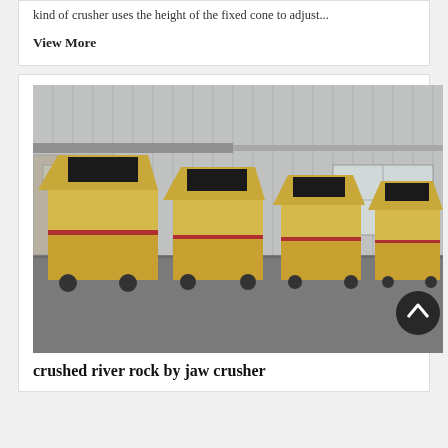kind of crusher uses the height of the fixed cone to adjust...
View More
[Figure (photo): Five yellow industrial impact/jaw crusher machines lined up in a row in a factory yard, in front of a large grey corrugated metal warehouse building. A circular back-to-top navigation button is overlaid in the bottom right of the image.]
crushed river rock by jaw crusher